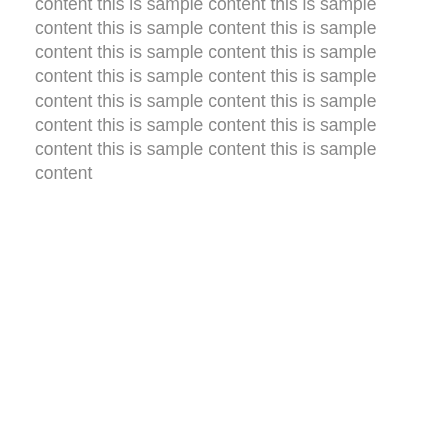content this is sample content this is sample content this is sample content this is sample content this is sample content this is sample content this is sample content this is sample content this is sample content this is sample content this is sample content this is sample content this is sample content this is sample content